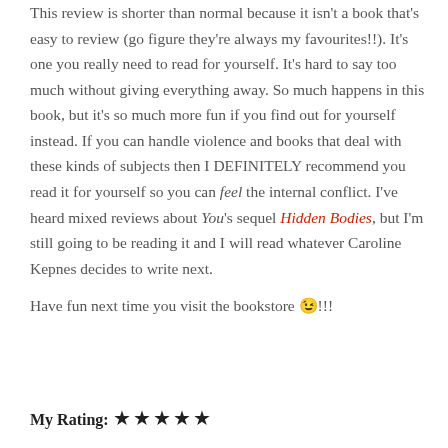This review is shorter than normal because it isn't a book that's easy to review (go figure they're always my favourites!!). It's one you really need to read for yourself. It's hard to say too much without giving everything away. So much happens in this book, but it's so much more fun if you find out for yourself instead. If you can handle violence and books that deal with these kinds of subjects then I DEFINITELY recommend you read it for yourself so you can feel the internal conflict. I've heard mixed reviews about You's sequel Hidden Bodies, but I'm still going to be reading it and I will read whatever Caroline Kepnes decides to write next.

Have fun next time you visit the bookstore 😉!!!
My Rating: ★★★★★